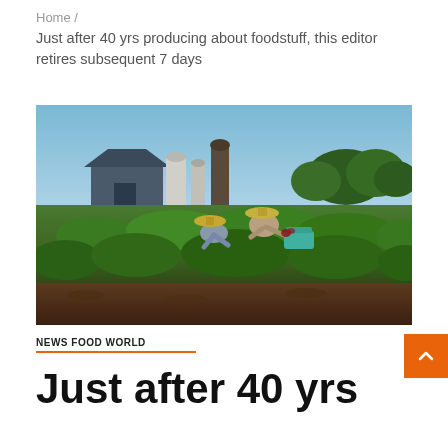Home /
Just after 40 yrs producing about foodstuff, this editor retires subsequent 7 days
[Figure (photo): Two farm workers wearing straw hats harvesting crops in a green field, with a barn and grain silos visible in the background under a clear blue sky.]
NEWS FOOD WORLD
Just after 40 yrs